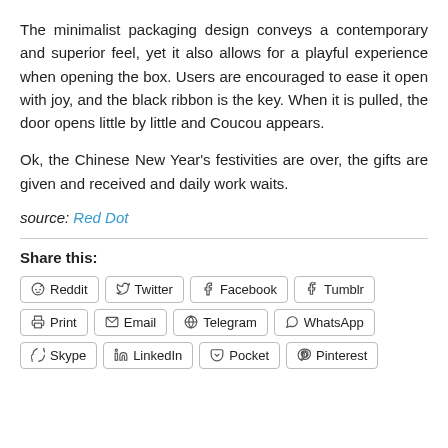The minimalist packaging design conveys a contemporary and superior feel, yet it also allows for a playful experience when opening the box. Users are encouraged to ease it open with joy, and the black ribbon is the key. When it is pulled, the door opens little by little and Coucou appears.
Ok, the Chinese New Year's festivities are over, the gifts are given and received and daily work waits.
source: Red Dot
Share this:
Reddit  Twitter  Facebook  Tumblr  Print  Email  Telegram  WhatsApp  Skype  LinkedIn  Pocket  Pinterest